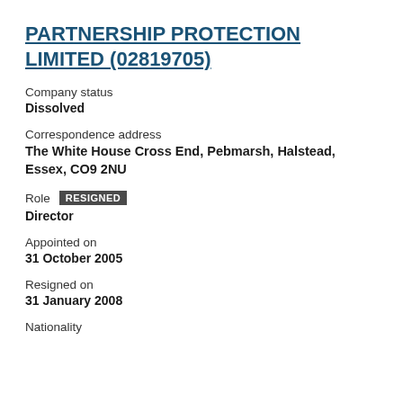PARTNERSHIP PROTECTION LIMITED (02819705)
Company status
Dissolved
Correspondence address
The White House Cross End, Pebmarsh, Halstead, Essex, CO9 2NU
Role  RESIGNED
Director
Appointed on
31 October 2005
Resigned on
31 January 2008
Nationality